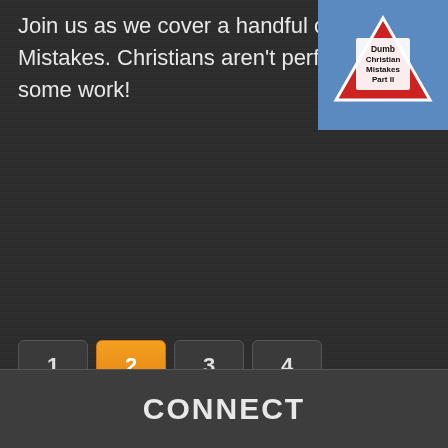Join us as we cover a handful of Dumb Christian Mistakes. Christians aren't perfect, and many of us need some work!
[Figure (illustration): Thumbnail image showing a triangular warning road sign on a blue sky background with text: Dumb Christian Mistakes Part II]
Page 2 of 4
CONNECT